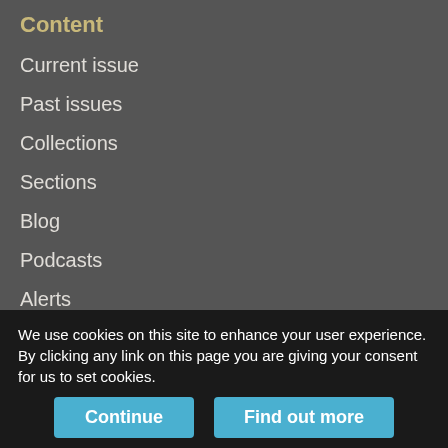Content
Current issue
Past issues
Collections
Sections
Blog
Podcasts
Alerts
RSS
Early releases
Information for
Advertisers
We use cookies on this site to enhance your user experience. By clicking any link on this page you are giving your consent for us to set cookies.
Continue
Find out more